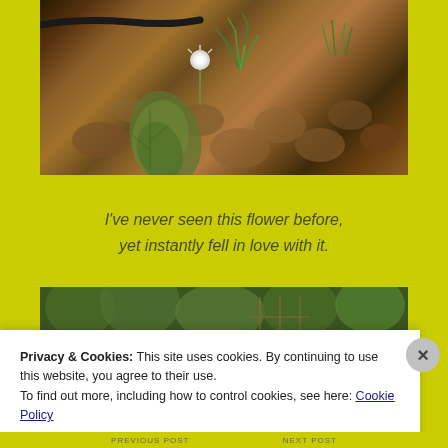[Figure (photo): Close-up photograph of small flowering plants (including a white thistle-like flower and leafy green plant) growing in brown clumpy soil, with a black drip irrigation line visible at top left.]
I've never seen this flower before,
yet instantly fell in love with it.
[Figure (photo): Photograph of a lush garden with dense green foliage, trees, trellises and stakes visible in the background.]
Privacy & Cookies: This site uses cookies. By continuing to use this website, you agree to their use.
To find out more, including how to control cookies, see here: Cookie Policy
Close and accept